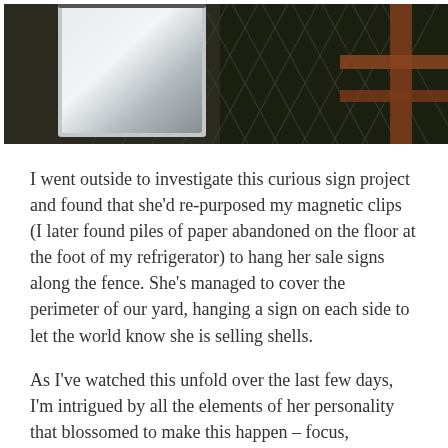[Figure (photo): Outdoor photo showing a chain-link fence with wooden posts/railing visible, and a light-colored reflective surface (possibly a sign or laptop) on the left side. Dark background with foliage visible.]
I went outside to investigate this curious sign project and found that she'd re-purposed my magnetic clips (I later found piles of paper abandoned on the floor at the foot of my refrigerator) to hang her sale signs along the fence. She's managed to cover the perimeter of our yard, hanging a sign on each side to let the world know she is selling shells.
As I've watched this unfold over the last few days, I'm intrigued by all the elements of her personality that blossomed to make this happen – focus, ingenuity, tenacity, and self-starting initiation – elements I fear she'd always use for evil rather than good.